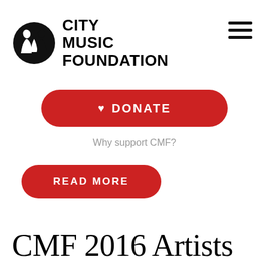[Figure (logo): City Music Foundation logo: black circle with two silhouetted musician figures, next to bold uppercase text 'CITY MUSIC FOUNDATION']
[Figure (other): Hamburger menu icon: three horizontal black bars stacked vertically]
♥ DONATE
Why support CMF?
READ MORE
CMF 2016 Artists